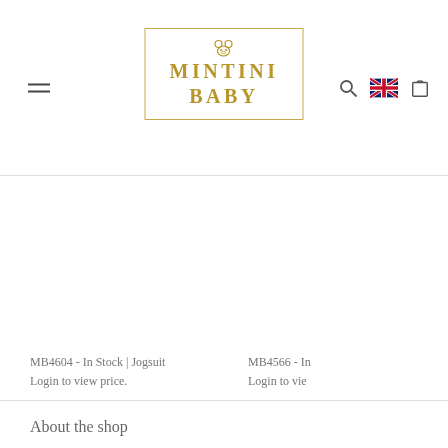MINTINI BABY — navigation header with hamburger menu, logo, search, UK flag, and cart icons
MB4604 - In Stock | Jogsuit
Login to view price.
MB4566 - In
Login to vie
About the shop